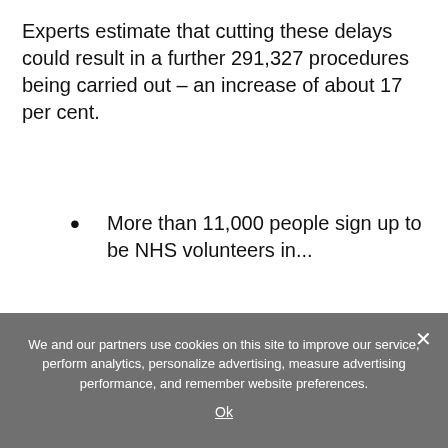Experts estimate that cutting these delays could result in a further 291,327 procedures being carried out – an increase of about 17 per cent.
More than 11,000 people sign up to be NHS volunteers in...
We and our partners use cookies on this site to improve our service, perform analytics, personalize advertising, measure advertising performance, and remember website preferences.
Ok
Share this article